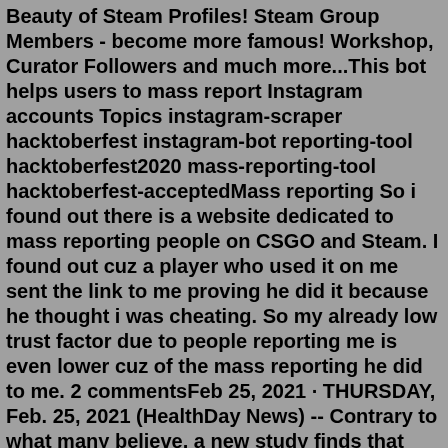Beauty of Steam Profiles! Steam Group Members - become more famous! Workshop, Curator Followers and much more...This bot helps users to mass report Instagram accounts Topics instagram-scraper hacktoberfest instagram-bot reporting-tool hacktoberfest2020 mass-reporting-tool hacktoberfest-acceptedMass reporting So i found out there is a website dedicated to mass reporting people on CSGO and Steam. I found out cuz a player who used it on me sent the link to me proving he did it because he thought i was cheating. So my already low trust factor due to people reporting me is even lower cuz of the mass reporting he did to me. 2 commentsFeb 25, 2021 · THURSDAY, Feb. 25, 2021 (HealthDay News) -- Contrary to what many believe, a new study finds that mental illness isn't a factor in most mass shootings or other types of mass murder. "The findings ... Video guide: how to mass report hackers in steam profile using Steam CSGO report bot. This is Node JS script that allows you to report hackers and